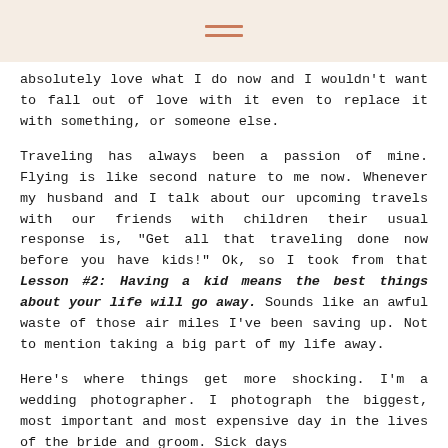≡ (hamburger menu icon)
absolutely love what I do now and I wouldn't want to fall out of love with it even to replace it with something, or someone else.
Traveling has always been a passion of mine. Flying is like second nature to me now. Whenever my husband and I talk about our upcoming travels with our friends with children their usual response is, "Get all that traveling done now before you have kids!" Ok, so I took from that Lesson #2: Having a kid means the best things about your life will go away. Sounds like an awful waste of those air miles I've been saving up. Not to mention taking a big part of my life away.
Here's where things get more shocking. I'm a wedding photographer. I photograph the biggest, most important and most expensive day in the lives of the bride and groom. Sick days...